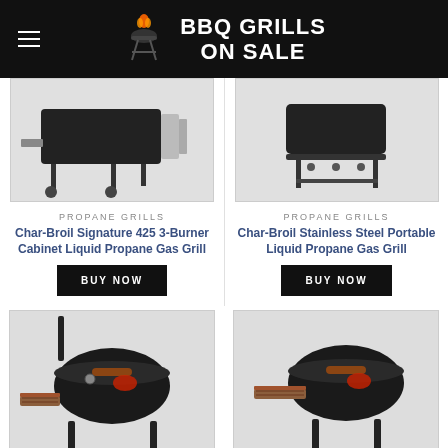BBQ GRILLS ON SALE
[Figure (photo): Char-Broil Signature 425 3-Burner Cabinet Liquid Propane Gas Grill product photo]
PROPANE GRILLS
Char-Broil Signature 425 3-Burner Cabinet Liquid Propane Gas Grill
BUY NOW
[Figure (photo): Char-Broil Stainless Steel Portable Liquid Propane Gas Grill product photo]
PROPANE GRILLS
Char-Broil Stainless Steel Portable Liquid Propane Gas Grill
BUY NOW
[Figure (photo): Char-Griller charcoal barrel grill with wooden side shelves, left side product photo]
[Figure (photo): Char-Griller charcoal barrel grill with wooden side shelf, right side product photo]